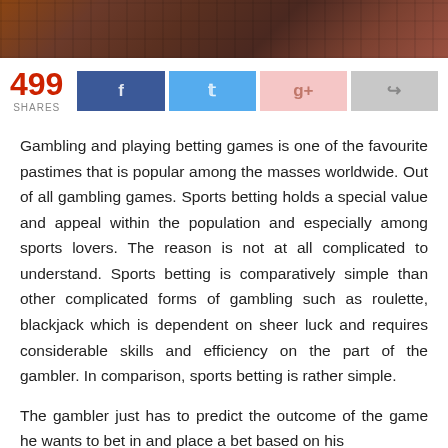[Figure (photo): Top portion of a casino or hotel interior viewed from above, showing patterned carpet/floor area with furniture.]
499 SHARES
Gambling and playing betting games is one of the favourite pastimes that is popular among the masses worldwide. Out of all gambling games. Sports betting holds a special value and appeal within the population and especially among sports lovers. The reason is not at all complicated to understand. Sports betting is comparatively simple than other complicated forms of gambling such as roulette, blackjack which is dependent on sheer luck and requires considerable skills and efficiency on the part of the gambler. In comparison, sports betting is rather simple.
The gambler just has to predict the outcome of the game he wants to bet in and place a bet based on his